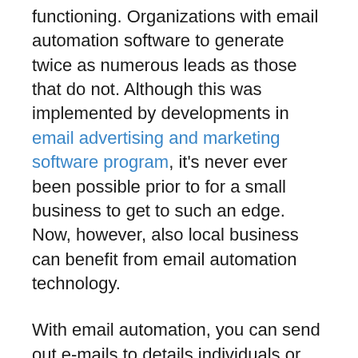functioning. Organizations with email automation software to generate twice as numerous leads as those that do not. Although this was implemented by developments in email advertising and marketing software program, it's never ever been possible prior to for a small business to get to such an edge. Now, however, also local business can benefit from email automation technology.
With email automation, you can send out e-mails to details individuals or groups of people or you can automate the distribution of your e-mails. It enables you to establish your autoresponder to instantly deliver based on availability...